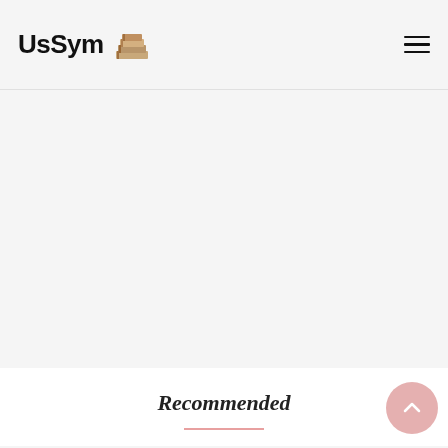UsSym
[Figure (illustration): Stack of books icon next to UsSym logo text]
[Figure (other): Hamburger menu icon (three horizontal lines) in top right corner]
[Figure (other): Large empty grey content area (likely a banner or hero image area)]
Recommended
[Figure (other): Pink circular scroll-to-top button with upward arrow]